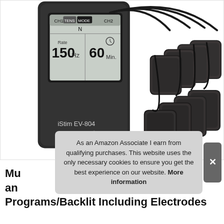[Figure (photo): iStim EV-804 TENS unit device (dark grey/black handheld unit showing LCD display with CH1 TENS MODE, N, Rate 150Hz, 60 Min, CH2) alongside 8 black electrode pads fanned out to the right. Text 'iStim EV-804' visible on device body.]
As an Amazon Associate I earn from qualifying purchases. This website uses the only necessary cookies to ensure you get the best experience on our website. More information
Mu an Programs/Backlit Including Electrodes